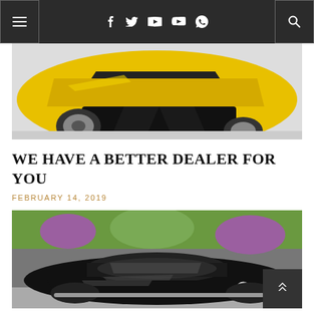Navigation bar with menu, social icons (Facebook, Twitter, Google+, YouTube, Skype), and search
[Figure (photo): Close-up front view of a yellow sports car (Lamborghini) with chrome wheels on a white floor]
WE HAVE A BETTER DEALER FOR YOU
FEBRUARY 14, 2019
[Figure (photo): Black classic convertible car parked outside with flowers and stone wall in background]